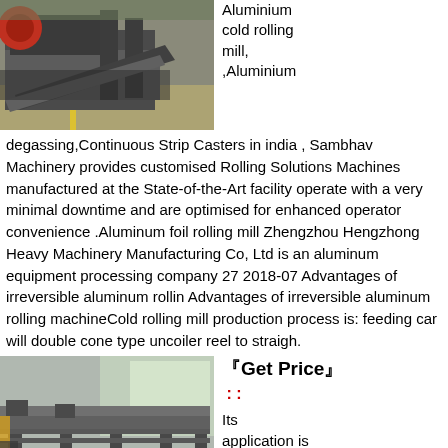[Figure (photo): Industrial aluminum cold rolling mill machinery in a factory setting, large grey metal equipment on a warehouse floor]
Aluminium cold rolling mill, ,Aluminium
degassing,Continuous Strip Casters in india , Sambhav Machinery provides customised Rolling Solutions Machines manufactured at the State-of-the-Art facility operate with a very minimal downtime and are optimised for enhanced operator convenience .Aluminum foil rolling mill Zhengzhou Hengzhong Heavy Machinery Manufacturing Co, Ltd is an aluminum equipment processing company 27 2018-07 Advantages of irreversible aluminum rollin Advantages of irreversible aluminum rolling machineCold rolling mill production process is: feeding car will double cone type uncoiler reel to straigh.
[Figure (photo): Large industrial metal frame structure or rolling mill rack in a factory building]
『Get Price』
::
Its application is in Aluminium Rolling Mills ROLEX - 55 is mainly